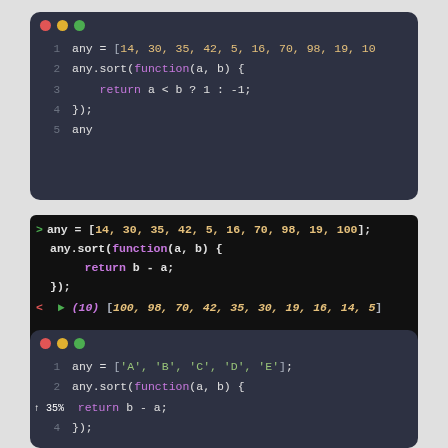[Figure (screenshot): Code editor block showing JavaScript array sort descending with ternary operator, lines 1-5]
[Figure (screenshot): Browser console showing JavaScript array sort descending with b-a, input and output]
[Figure (screenshot): Code editor block showing JavaScript array sort descending with strings A-E, lines 1-4 visible]